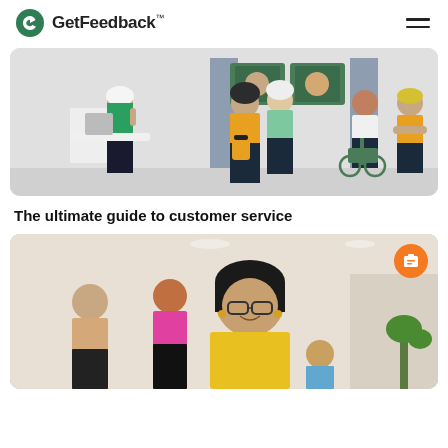GetFeedback™
[Figure (illustration): Illustrated scene of diverse people in a customer service setting: an agent at a computer, people waiting, video call screens on the wall, a person in a wheelchair, and others with shopping bags.]
The ultimate guide to customer service
[Figure (photo): A smiling Asian woman with glasses and dark hair in a bright, airy workspace. Other people working in the background. Orange briefcase icon badge in top-right corner.]